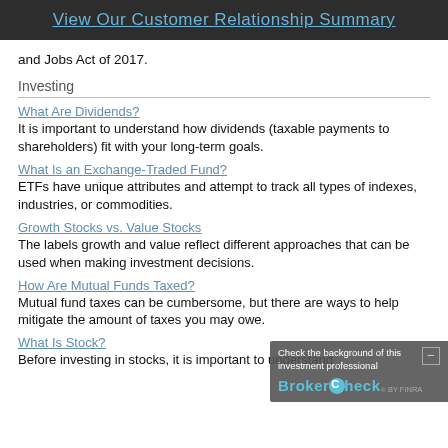View Our Customer Relationship Summary
and Jobs Act of 2017.
Investing
What Are Dividends?
It is important to understand how dividends (taxable payments to shareholders) fit with your long-term goals.
What Is an Exchange-Traded Fund?
ETFs have unique attributes and attempt to track all types of indexes, industries, or commodities.
Growth Stocks vs. Value Stocks
The labels growth and value reflect different approaches that can be used when making investment decisions.
How Are Mutual Funds Taxed?
Mutual fund taxes can be cumbersome, but there are ways to help mitigate the amount of taxes you may owe.
What Is Stock?
Before investing in stocks, it is important to understand